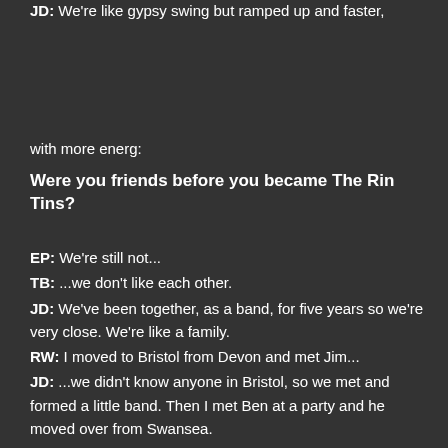JD: We're like gypsy swing but ramped up and faster,
with more energ:
Were you friends before you became The Rin Tins?
EP: We're still not...
TB: ...we don't like each other.
JD: We've been together, as a band, for five years so we're very close. We're like a family.
RW: I moved to Bristol from Devon and met Jim...
JD: ...we didn't know anyone in Bristol, so we met and formed a little band. Then I met Ben at a party and he moved over from Swansea.